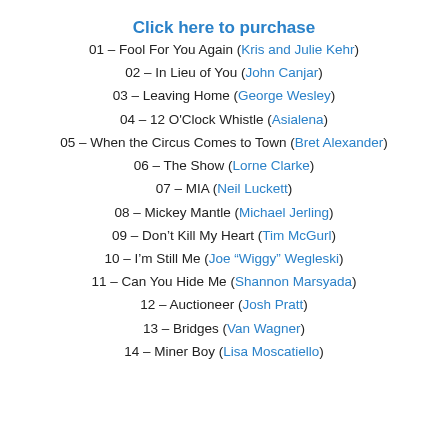Click here to purchase
01 – Fool For You Again (Kris and Julie Kehr)
02 – In Lieu of You (John Canjar)
03 – Leaving Home (George Wesley)
04 – 12 O'Clock Whistle (Asialena)
05 – When the Circus Comes to Town (Bret Alexander)
06 – The Show (Lorne Clarke)
07 – MIA (Neil Luckett)
08 – Mickey Mantle (Michael Jerling)
09 – Don't Kill My Heart (Tim McGurl)
10 – I'm Still Me (Joe "Wiggy" Wegleski)
11 – Can You Hide Me (Shannon Marsyada)
12 – Auctioneer (Josh Pratt)
13 – Bridges (Van Wagner)
14 – Miner Boy (Lisa Moscatiello)